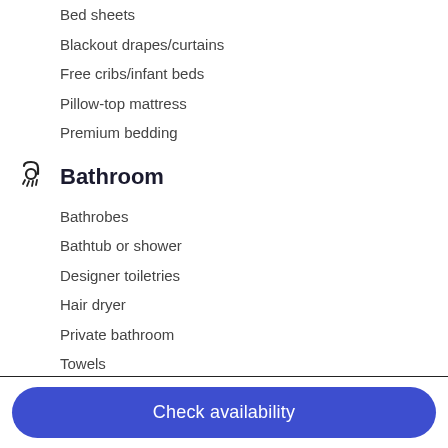Bed sheets
Blackout drapes/curtains
Free cribs/infant beds
Pillow-top mattress
Premium bedding
Bathroom
Bathrobes
Bathtub or shower
Designer toiletries
Hair dryer
Private bathroom
Towels
Entertainment
Digital channels
Check availability